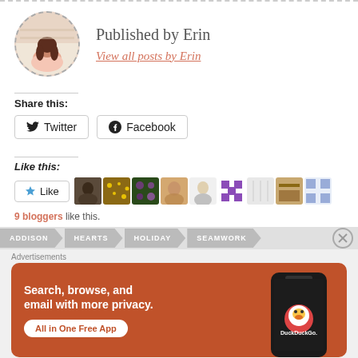Published by Erin
View all posts by Erin
Share this:
Twitter
Facebook
Like this:
Like
9 bloggers like this.
ADDISON  HEARTS  HOLIDAY  SEAMWORK
Advertisements
Search, browse, and email with more privacy. All in One Free App